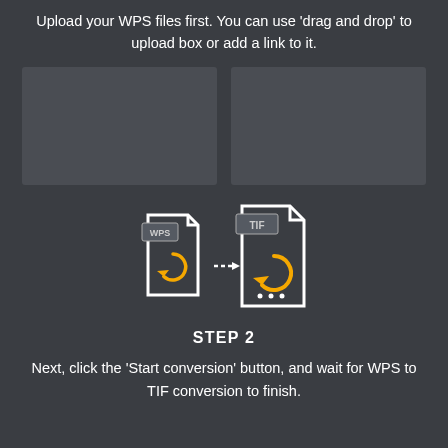Upload your WPS files first. You can use 'drag and drop' to upload box or add a link to it.
[Figure (illustration): Two upload box placeholders side by side with dark gray background]
[Figure (illustration): WPS to TIF file conversion icon: a smaller WPS document icon with a yellow circular arrow, a dashed arrow pointing right, and a larger TIF document icon with a yellow circular arrow]
STEP 2
Next, click the 'Start conversion' button, and wait for WPS to TIF conversion to finish.